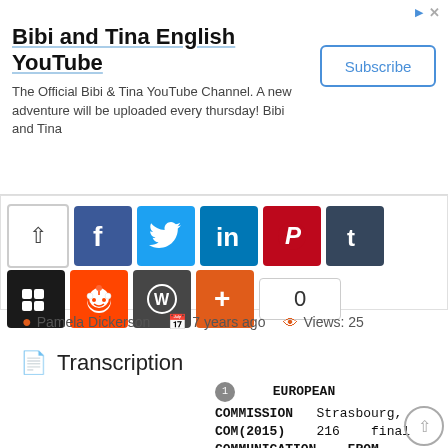[Figure (screenshot): Advertisement banner for 'Bibi and Tina English YouTube' channel with Subscribe button]
[Figure (screenshot): Social sharing buttons row 1: up arrow, Facebook, Twitter, LinkedIn, Pinterest, Tumblr]
[Figure (screenshot): Social sharing buttons row 2: Muut, Reddit, WordPress, Google+, share count 0]
Pamela Dickerson   7 years ago   Views: 25
Transcription
1  EUROPEAN COMMISSION Strasbourg, COM(2015) 216 final COMMUNICATION FROM THE COMMISSION TO THE